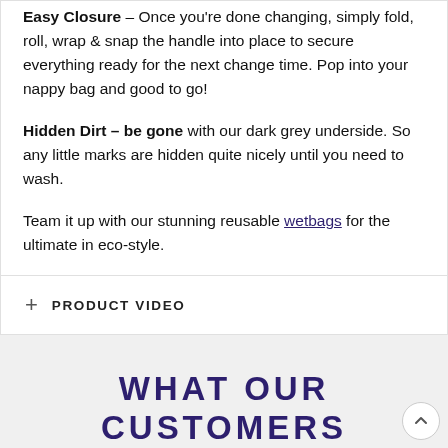Easy Closure – Once you're done changing, simply fold, roll, wrap & snap the handle into place to secure everything ready for the next change time. Pop into your nappy bag and good to go!
Hidden Dirt – be gone with our dark grey underside. So any little marks are hidden quite nicely until you need to wash.
Team it up with our stunning reusable wetbags for the ultimate in eco-style.
+ PRODUCT VIDEO
WHAT OUR CUSTOMERS SAY ABOUT THE